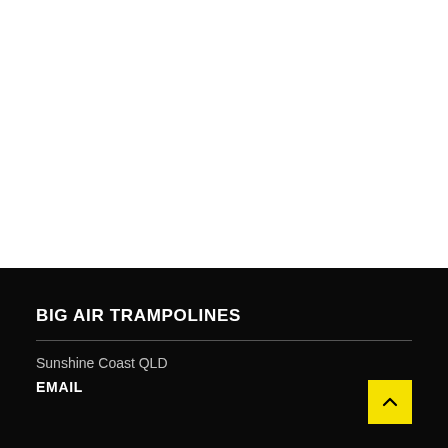BIG AIR TRAMPOLINES
Sunshine Coast QLD
EMAIL